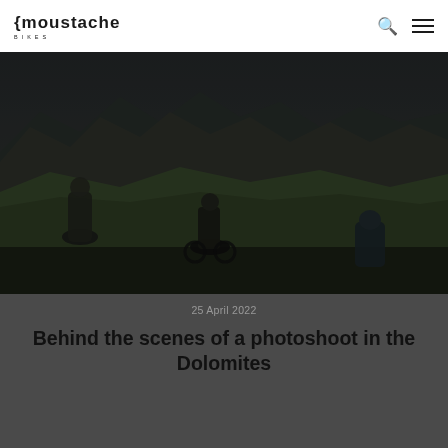Moustache Bikes
[Figure (photo): Mountain biking photo showing cyclists on a mountain trail in the Dolomites, with dramatic rocky mountain peaks and green hillsides in the background. The scene is dark/moody with overcast skies.]
25 April 2022
Behind the scenes of a photoshoot in the Dolomites